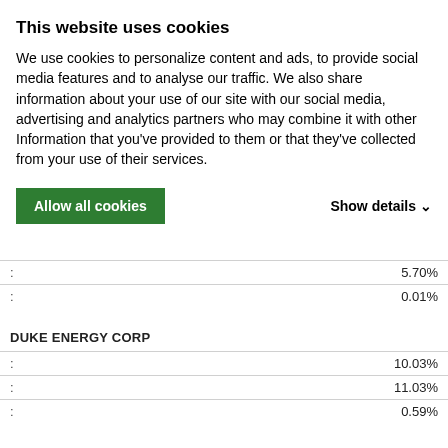This website uses cookies
We use cookies to personalize content and ads, to provide social media features and to analyse our traffic. We also share information about your use of our site with our social media, advertising and analytics partners who may combine it with other Information that you've provided to them or that they've collected from your use of their services.
Allow all cookies   Show details
DUKE ENERGY CORP
|  |  |
| --- | --- |
| : | 10.03% |
| : | 11.03% |
| : | 0.59% |
DENISON MINES CORP
|  |  |
| --- | --- |
| : | 3.15% |
| : | -25.20% |